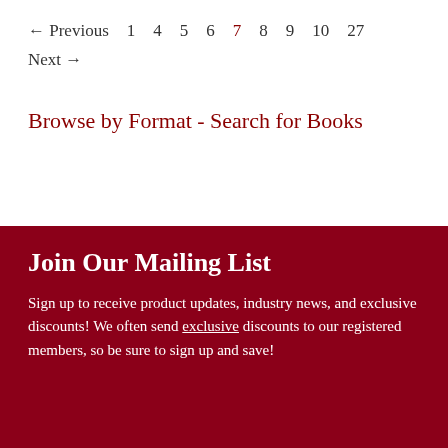← Previous  1  4  5  6  7  8  9  10  27  Next →
Browse by Format - Search for Books
Join Our Mailing List
Sign up to receive product updates, industry news, and exclusive discounts! We often send exclusive discounts to our registered members, so be sure to sign up and save!